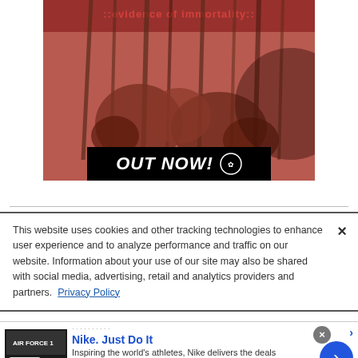[Figure (illustration): Album art for ':: evidence of immortality ::' showing illustrated figures with weapons and shields in dark red/brown tones, with a black bar at the bottom reading 'OUT NOW!' with a small logo]
This website uses cookies and other tracking technologies to enhance user experience and to analyze performance and traffic on our website. Information about your use of our site may also be shared with social media, advertising, retail and analytics providers and partners. Privacy Policy
[Figure (screenshot): Nike advertisement: 'Nike. Just Do It' with tagline 'Inspiring the world's athletes, Nike delivers the deals', url 'www.nike.com', showing Nike shoe image on left, blue arrow button on right]